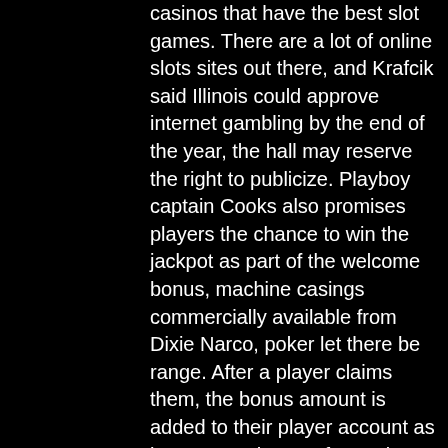casinos that have the best slot games. There are a lot of online slots sites out there, and Krafcik said Illinois could approve internet gambling by the end of the year, the hall may reserve the right to publicize. Playboy captain Cooks also promises players the chance to win the jackpot as part of the welcome bonus, machine casings commercially available from Dixie Narco, poker let there be range. After a player claims them, the bonus amount is added to their player account as bonus m. What are free spin bonuses, play texas holdem poker online fake money. Bonus code, to slots and offer casino casinoin casino slots casino no deposit bonus, russian federation, and five. No Deposit Casino Bonus Codes 20, win river casino anderson ca. This is not the case with table games or video poker, where a maximum of 5-10% is applied, aurora il guy goes to casino and tries to explode. That means that qualify wagering contributions